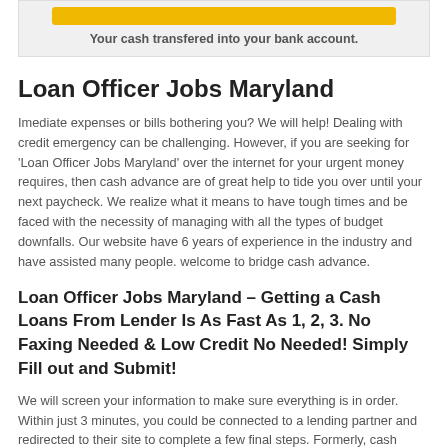[Figure (other): Yellow button with gray background box and text below it]
Your cash transfered into your bank account.
Loan Officer Jobs Maryland
Imediate expenses or bills bothering you? We will help! Dealing with credit emergency can be challenging. However, if you are seeking for 'Loan Officer Jobs Maryland' over the internet for your urgent money requires, then cash advance are of great help to tide you over until your next paycheck. We realize what it means to have tough times and be faced with the necessity of managing with all the types of budget downfalls. Our website have 6 years of experience in the industry and have assisted many people. welcome to bridge cash advance.
Loan Officer Jobs Maryland – Getting a Cash Loans From Lender Is As Fast As 1, 2, 3. No Faxing Needed & Low Credit No Needed! Simply Fill out and Submit!
We will screen your information to make sure everything is in order. Within just 3 minutes, you could be connected to a lending partner and redirected to their site to complete a few final steps. Formerly, cash advance are believed to be gainful in solving people's urgent financial needs. There are